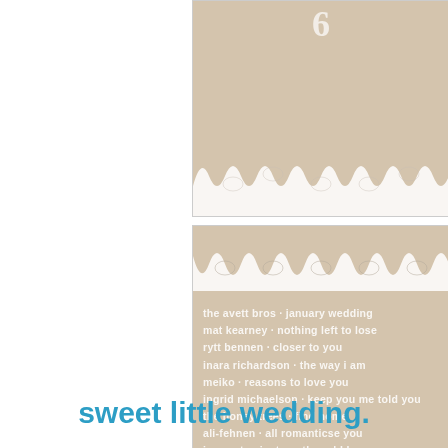[Figure (illustration): Top card fragment with beige/tan lace-bordered wedding card design showing partial number 6, cropped at top]
[Figure (illustration): Main wedding card with beige/lace design listing wedding songs, overlaid with Photobucket watermark. Songs: the avett bros - january wedding, mat kearney - nothing left to lose, rytt bennen - closer to you, inara richardson - the way i am, meiko - reasons to love you, ingrid michaelson - keep you me told you, the honey trees - find home, ali-fehnen - all romanticse you, joe purta - just another old love song, meiko - how lucky we are, the woopies - gotta have you, mat kearney - undeniable, colbie caillat - fallin for you]
sweet little wedding.